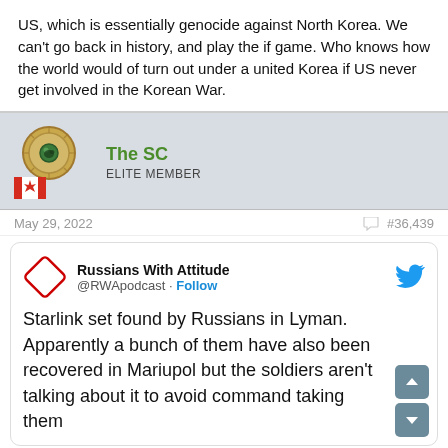US, which is essentially genocide against North Korea. We can't go back in history, and play the if game. Who knows how the world would of turn out under a united Korea if US never get involved in the Korean War.
[Figure (other): Forum user profile section showing avatar with medal icon and Canadian flag, username 'The SC' in green, rank 'ELITE MEMBER']
May 29, 2022   #36,439
[Figure (screenshot): Embedded tweet from @RWApodcast 'Russians With Attitude' with text: 'Starlink set found by Russians in Lyman. Apparently a bunch of them have also been recovered in Mariupol but the soldiers aren't talking about it to avoid command taking them']